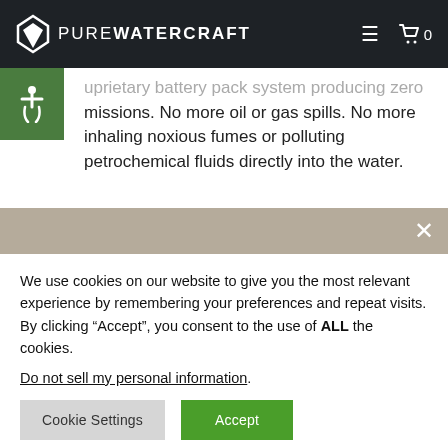PUREWATERCRAFT
uprietary battery pack system producing zero emissions. No more oil or gas spills. No more inhaling noxious fumes or polluting petrochemical fluids directly into the water.
We use cookies on our website to give you the most relevant experience by remembering your preferences and repeat visits. By clicking “Accept”, you consent to the use of ALL the cookies.
Do not sell my personal information.